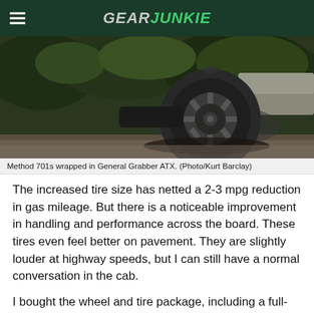GEAR JUNKIE
[Figure (photo): Close-up of an off-road vehicle wheel and tire (Method 701s wrapped in General Grabber ATX), suspended in air above a road surface with green foliage in the background.]
Method 701s wrapped in General Grabber ATX. (Photo/Kurt Barclay)
The increased tire size has netted a 2-3 mpg reduction in gas mileage. But there is a noticeable improvement in handling and performance across the board. These tires even feel better on pavement. They are slightly louder at highway speeds, but I can still have a normal conversation in the cab.
I bought the wheel and tire package, including a full-size spare and TPMS, mounted and ready to install for $2,500 from Tire Rack. You could skip the wheels and just get the